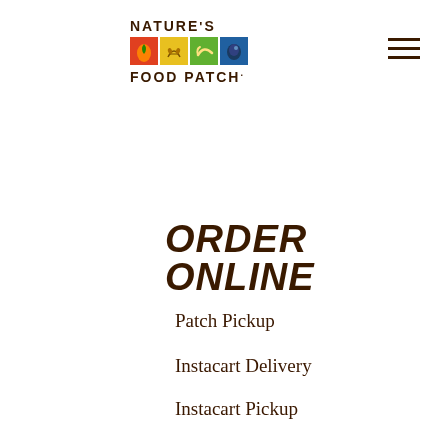[Figure (logo): Nature's Food Patch logo with colorful icon squares and text]
ORDER ONLINE
Patch Pickup
Instacart Delivery
Instacart Pickup
Café Pickup & Delivery
RESOURCES
Recipes